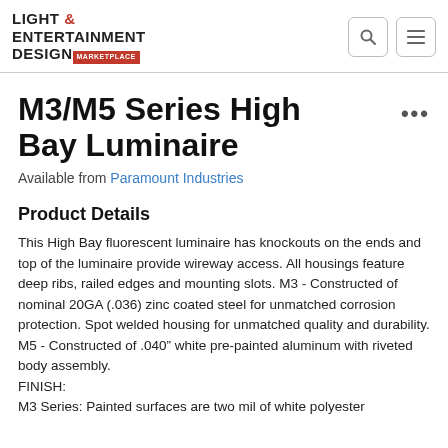LIGHT & ENTERTAINMENT DESIGN MARKETPLACE
M3/M5 Series High Bay Luminaire
Available from Paramount Industries
Product Details
This High Bay fluorescent luminaire has knockouts on the ends and top of the luminaire provide wireway access. All housings feature deep ribs, railed edges and mounting slots. M3 - Constructed of nominal 20GA (.036) zinc coated steel for unmatched corrosion protection. Spot welded housing for unmatched quality and durability.
M5 - Constructed of .040” white pre-painted aluminum with riveted body assembly.
FINISH:
M3 Series: Painted surfaces are two mil of white polyester